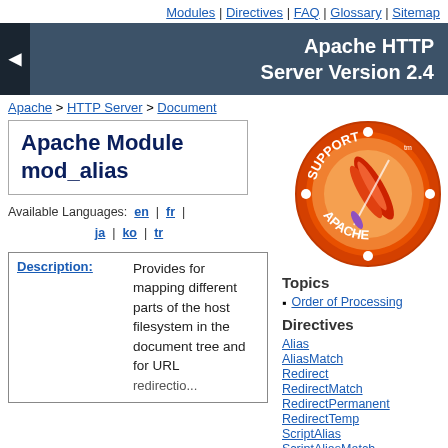Modules | Directives | FAQ | Glossary | Sitemap
Apache HTTP Server Version 2.4
Apache > HTTP Server > Document
Apache Module mod_alias
Available Languages: en | fr | ja | ko | tr
[Figure (logo): Apache Support logo — circular orange and red badge with a feather, text reads SUPPORT APACHE]
Topics
Order of Processing
Directives
Alias
AliasMatch
Redirect
RedirectMatch
RedirectPermanent
RedirectTemp
ScriptAlias
ScriptAliasMatch
| Description: | Description text |
| --- | --- |
| Description: | Provides for mapping different parts of the host filesystem in the document tree and for URL |